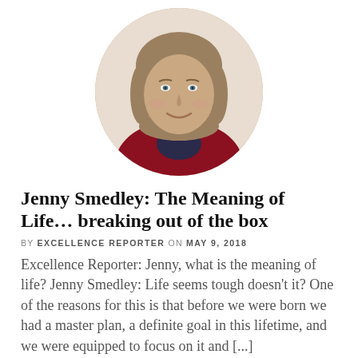[Figure (photo): Portrait photo of Jenny Smedley, a middle-aged woman with short brown hair, smiling, wearing a red top with dark collar, displayed in a circular crop.]
Jenny Smedley: The Meaning of Life... breaking out of the box
BY EXCELLENCE REPORTER ON MAY 9, 2018
Excellence Reporter: Jenny, what is the meaning of life? Jenny Smedley: Life seems tough doesn't it? One of the reasons for this is that before we were born we had a master plan, a definite goal in this lifetime, and we were equipped to focus on it and [...]